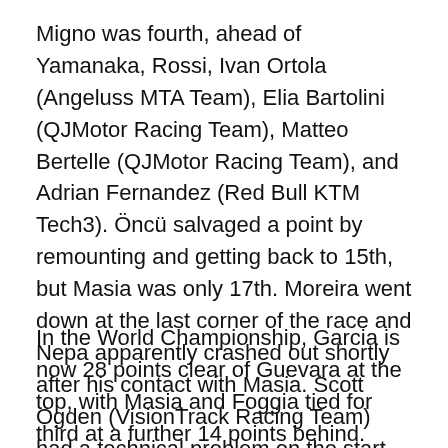Migno was fourth, ahead of Yamanaka, Rossi, Ivan Ortola (Angeluss MTA Team), Elia Bartolini (QJMotor Racing Team), Matteo Bertelle (QJMotor Racing Team), and Adrian Fernandez (Red Bull KTM Tech3). Öncü salvaged a point by remounting and getting back to 15th, but Masia was only 17th. Moreira went down at the last corner of the race and Nepa apparently crashed out shortly after his contact with Masia. Scott Ogden (VisionTrack Racing Team) had a technical problem on the start line and hit the floor when he was clipped on the way past by Taiyo Furusato (Honda Team Asia), who went on to finish 18th.
In the World Championship, Garcia is now 28 points clear of Guevara at the top, with Masia and Foggia tied for third at a further 14 points behind. After so many thrills and spills at Mugello, the battle resumes with Round 9, the